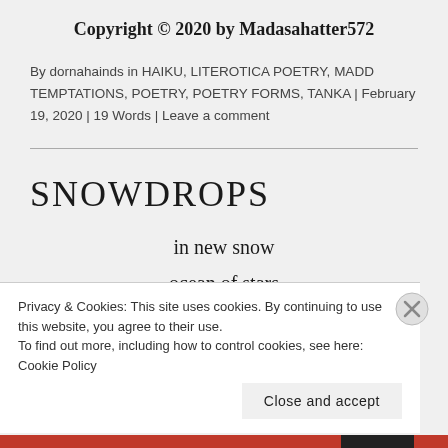Copyright © 2020 by Madasahatter572
By dornahainds in HAIKU, LITEROTICA POETRY, MADD TEMPTATIONS, POETRY, POETRY FORMS, TANKA | February 19, 2020 | 19 Words | Leave a comment
SNOWDROPS
in new snow
ocean of stars
from the Milky Way
Privacy & Cookies: This site uses cookies. By continuing to use this website, you agree to their use.
To find out more, including how to control cookies, see here: Cookie Policy
Close and accept